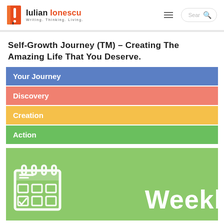Iulian Ionescu – Writing. Thinking. Living.
Self-Growth Journey (TM) – Creating The Amazing Life That You Deserve.
Your Journey
Discovery
Creation
Action
[Figure (illustration): Green card with calendar icon on the left and large white text 'Weekl' visible on the right, cut off at page edge]